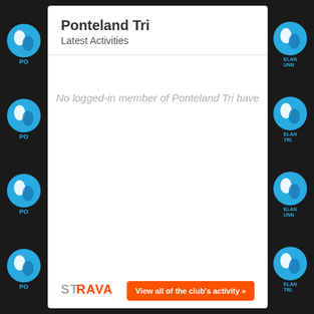Ponteland Tri
Latest Activities
No logged-in member of Ponteland Tri have
[Figure (logo): STRAVA logo in grey and orange]
View all of the club's activity »